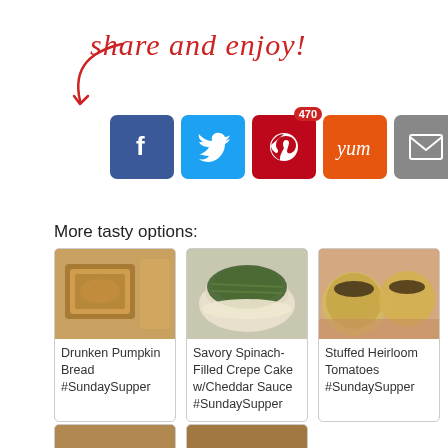share and enjoy!
[Figure (infographic): Social sharing buttons: Facebook, Twitter, Pinterest (470 shares), Yummly, Email, Print, and one more partially visible]
More tasty options:
[Figure (photo): Photo of Drunken Pumpkin Bread in a loaf pan]
Drunken Pumpkin Bread #SundaySupper
[Figure (photo): Photo of Savory Spinach-Filled Crepe Cake with Cheddar Sauce on a plate]
Savory Spinach-Filled Crepe Cake w/Cheddar Sauce #SundaySupper
[Figure (photo): Photo of Stuffed Heirloom Tomatoes partially visible]
Stuffed Heirloom Tomatoes #SundaySupper